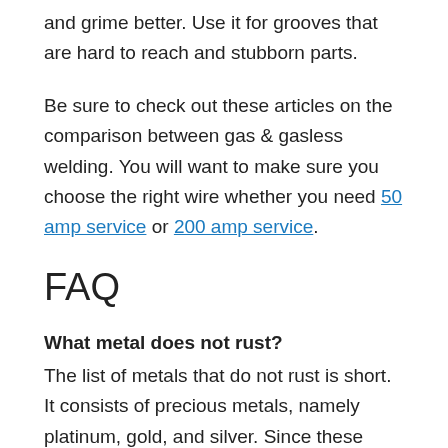and grime better. Use it for grooves that are hard to reach and stubborn parts.
Be sure to check out these articles on the comparison between gas & gasless welding. You will want to make sure you choose the right wire whether you need 50 amp service or 200 amp service.
FAQ
What metal does not rust?
The list of metals that do not rust is short. It consists of precious metals, namely platinum, gold, and silver. Since these elements are found in their purest forms, they're not contaminated with iron. Thus, they're considered to be free from rust.
Is galvanized steel good for outdoor uses?
Galvanized steel delays the rusting process, making it ideal for outdoor use. It's also affordable, hence remains a popular choice